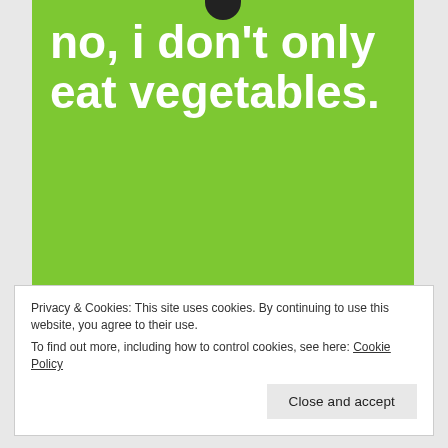[Figure (illustration): Green background image card with white bold text reading 'no, i don’t only eat vegetables.' and a partial dark logo at the top center.]
Privacy & Cookies: This site uses cookies. By continuing to use this website, you agree to their use.
To find out more, including how to control cookies, see here: Cookie Policy
Close and accept